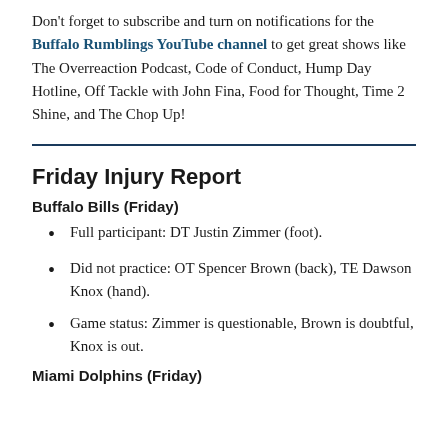Don't forget to subscribe and turn on notifications for the Buffalo Rumblings YouTube channel to get great shows like The Overreaction Podcast, Code of Conduct, Hump Day Hotline, Off Tackle with John Fina, Food for Thought, Time 2 Shine, and The Chop Up!
Friday Injury Report
Buffalo Bills (Friday)
Full participant: DT Justin Zimmer (foot).
Did not practice: OT Spencer Brown (back), TE Dawson Knox (hand).
Game status: Zimmer is questionable, Brown is doubtful, Knox is out.
Miami Dolphins (Friday)